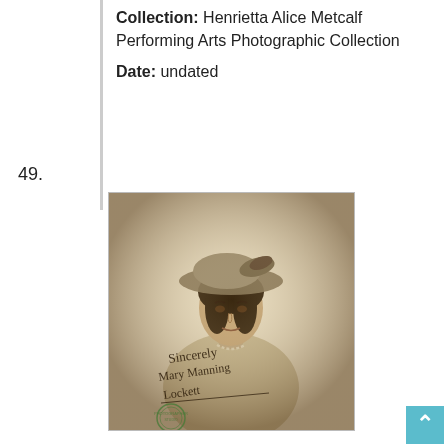Collection: Henrietta Alice Metcalf Performing Arts Photographic Collection
Date: undated
49.
[Figure (photo): Vintage sepia-toned portrait photograph of a woman wearing a large decorative hat, with a handwritten autograph inscription reading 'Sincerely, Mary Manning Lockett' and a green circular photographer's stamp at the bottom left.]